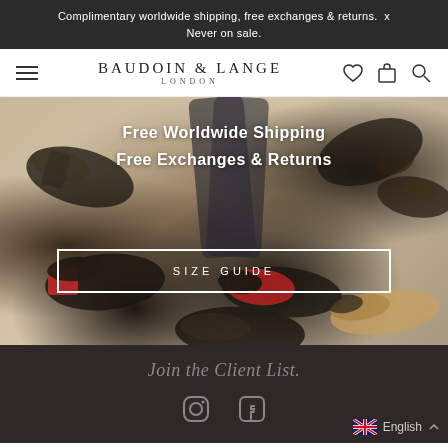Complimentary worldwide shipping, free exchanges & returns.  x
Never on sale.
BAUDOIN & LANGE
LONDON
[Figure (photo): Hero image showing multiple luxury loafer shoes arranged on a light beige/cream background. Various dark leather loafers and one with a red sole are visible.]
Free Worldwide Shipping
Free Exchanges & Returns
SIZE GUIDE
Join the Client List.
[Figure (illustration): Instagram icon (camera outline)]
[Figure (illustration): Facebook icon (f letter)]
English